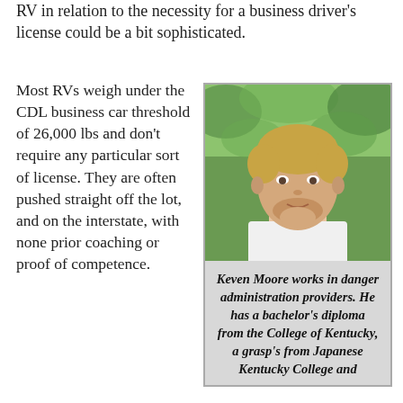RV in relation to the necessity for a business driver's license could be a bit sophisticated.
Most RVs weigh under the CDL business car threshold of 26,000 lbs and don't require any particular sort of license. They are often pushed straight off the lot, and on the interstate, with none prior coaching or proof of competence.
[Figure (photo): Headshot of a middle-aged man with blonde hair, wearing a white shirt, chin resting on hand, green foliage background.]
Keven Moore works in danger administration providers. He has a bachelor's diploma from the College of Kentucky, a grasp's from Japanese Kentucky College and